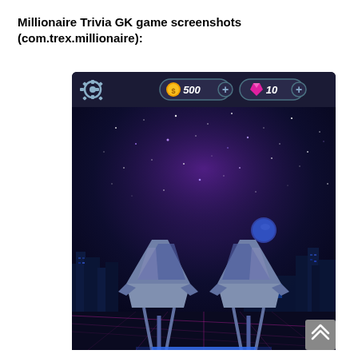Millionaire Trivia GK game screenshots (com.trex.millionaire):
[Figure (screenshot): Screenshot of the Millionaire Trivia GK mobile game showing a dark space-themed background with two futuristic chairs facing each other, a top bar with settings icon, coin counter showing 500, and gem counter showing 10.]